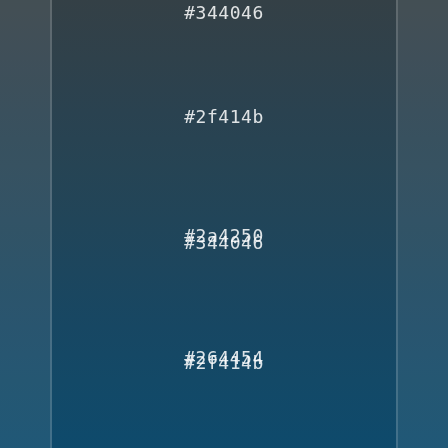#344046
#2f414b
#2a4250
#264454
#214559
#1c465e
#174763
#134967
#0e4a6c